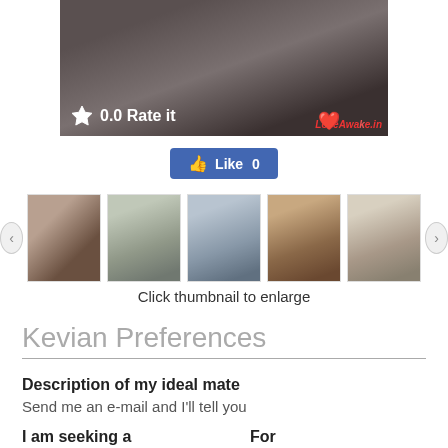[Figure (photo): Profile photo banner showing person in dark jacket, partially cropped. Rating overlay shows star icon and '0.0 Rate it'. LoveAwake watermark in bottom right corner.]
[Figure (photo): Facebook-style Like button with thumbs up icon and count 0]
[Figure (photo): Row of 5 thumbnail photos with left/right navigation arrows. Caption says 'Click thumbnail to enlarge']
Click thumbnail to enlarge
Kevian Preferences
Description of my ideal mate
Send me an e-mail and I'll tell you
I am seeking a
For